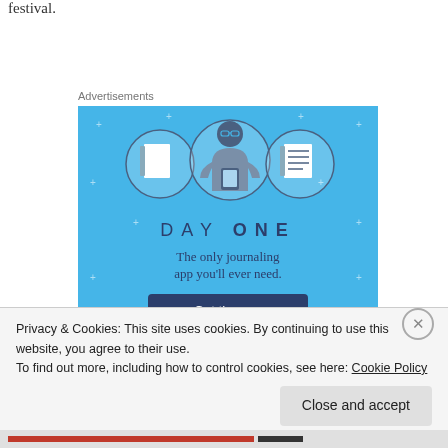festival.
Advertisements
[Figure (illustration): Day One journaling app advertisement on blue background. Shows three circular icons (notebook, person using phone, list notebook), text 'DAY ONE', subtitle 'The only journaling app you'll ever need.', and a 'Get the app' button.]
Privacy & Cookies: This site uses cookies. By continuing to use this website, you agree to their use.
To find out more, including how to control cookies, see here: Cookie Policy
Close and accept